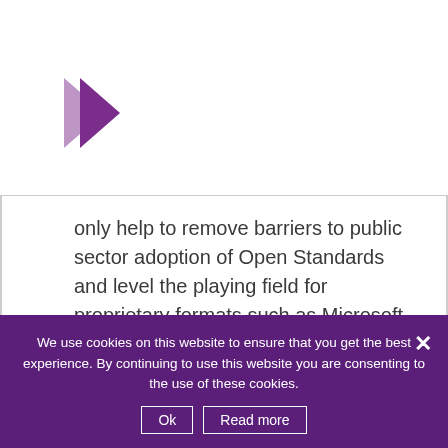[Figure (logo): Purple arrow/chevron logo pointing right]
only help to remove barriers to public sector adoption of Open Standards and level the playing field for proprietary formats such as Microsoft Office, which already have mobile applications available. In theory 6,806 devices are compatible with LibreOffice for Android – a staggering amount belying the incredible reach that this operating system now brings to the LibreOffice brand.
We use cookies on this website to ensure that you get the best experience. By continuing to use this website you are consenting to the use of these cookies.